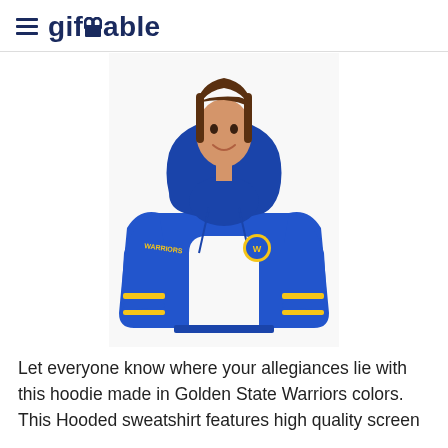giftTable
[Figure (photo): A woman wearing a blue Golden State Warriors hoodie with yellow lettering on the sleeves and a Warriors logo on the chest, white background.]
Let everyone know where your allegiances lie with this hoodie made in Golden State Warriors colors. This Hooded sweatshirt features high quality screen